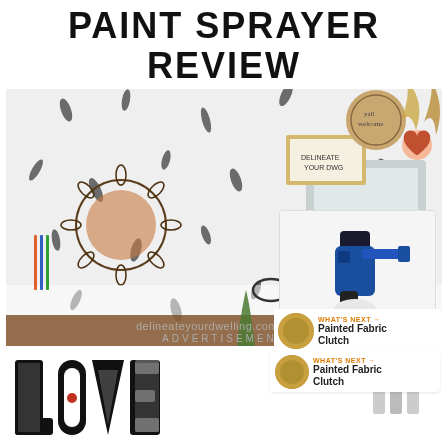PAINT SPRAYER REVIEW
[Figure (photo): A styled home office desk scene with a sunflower rattan mirror, patterned wallpaper, monitor, glasses, plants, and colorful decor. Watermark reads delineateyourdwelling.com. Inset product photo of a blue paint sprayer kit with accessories. Price badge showing 149.]
WHAT'S NEXT → Painted Fabric Clutch
ADVERTISEMENT
[Figure (photo): Advertisement banner showing stylized LOVE text logo and a weather app logo on the right. Close button X visible.]